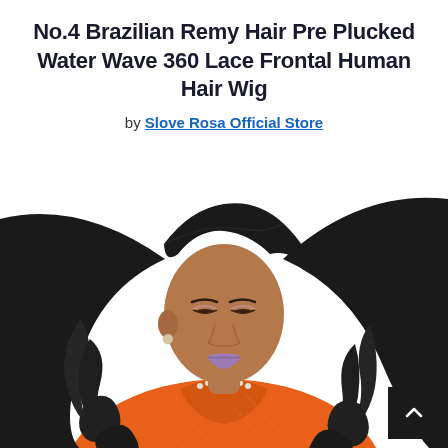No.4 Brazilian Remy Hair Pre Plucked Water Wave 360 Lace Frontal Human Hair Wig
by Slove Rosa Official Store
[Figure (photo): Woman with long wavy black hair wearing an orange floral shirt and a pearl choker necklace, looking downward. The wig showcases water wave texture Brazilian Remy hair.]